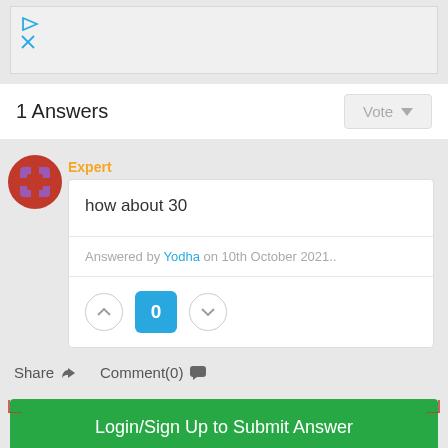[Figure (other): Ad banner with play and close icons]
1 Answers
Expert
how about 30
Answered by Yodha on 10th October 2021..
0
Share  Comment(0)
Login/Sign Up to Submit Answer